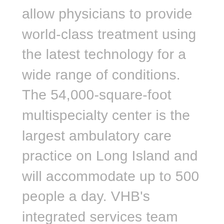allow physicians to provide world-class treatment using the latest technology for a wide range of conditions. The 54,000-square-foot multispecialty center is the largest ambulatory care practice on Long Island and will accommodate up to 500 people a day. VHB's integrated services team worked closely with Seavest Health Care to deliver this facility under a tight timeline. The team's local knowledge and experience was critical in navigating the complex entitlements path towards site plan approval with the Town. VHB focused on enhancing parking, drainage systems, lighting, and the landscape. The parking field was redesigned with islands, which